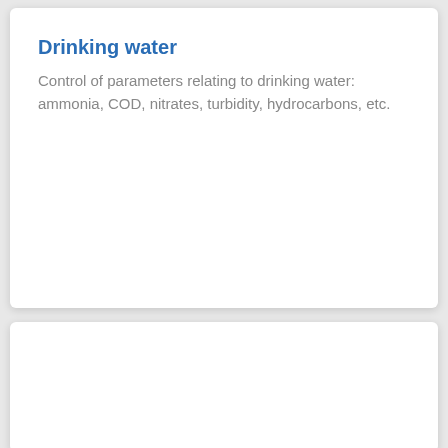Drinking water
Control of parameters relating to drinking water: ammonia, COD, nitrates, turbidity, hydrocarbons, etc.